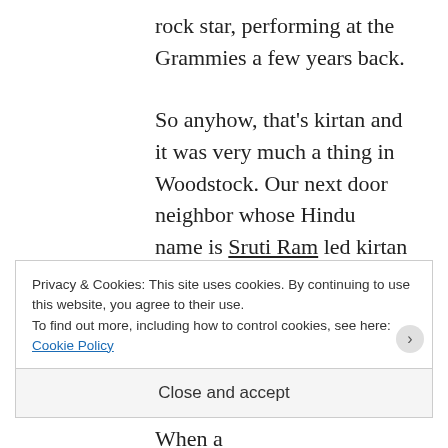rock star, performing at the Grammies a few years back.
So anyhow, that’s kirtan and it was very much a thing in Woodstock. Our next door neighbor whose Hindu name is Sruti Ram led kirtan for years first in his living room, then at various venues around town. Bill first got drawn into it by another local kirtan leader. When a
Privacy & Cookies: This site uses cookies. By continuing to use this website, you agree to their use.
To find out more, including how to control cookies, see here: Cookie Policy
Close and accept